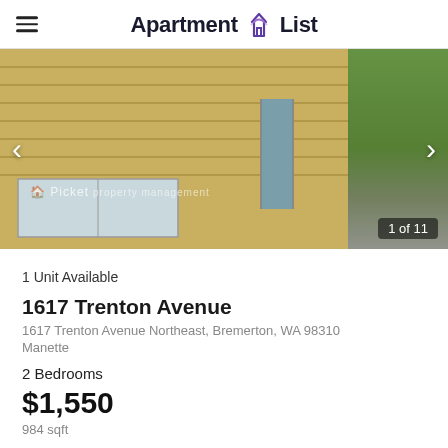Apartment List
[Figure (photo): Exterior photo of a residential apartment building with yellow/tan horizontal siding, a gray door, large windows on the lower level, and trees visible on the right. A Picket Property Management watermark is visible. Badge reads '1 of 11'.]
1 Unit Available
1617 Trenton Avenue
1617 Trenton Avenue Northeast, Bremerton, WA 98310
Manette
2 Bedrooms
$1,550
984 sqft